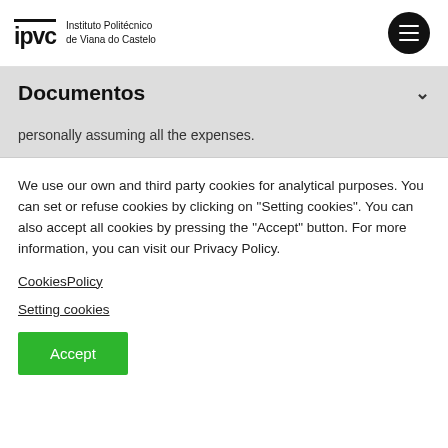Instituto Politécnico de Viana do Castelo
Documentos
personally assuming all the expenses.
We use our own and third party cookies for analytical purposes. You can set or refuse cookies by clicking on "Setting cookies". You can also accept all cookies by pressing the "Accept" button. For more information, you can visit our Privacy Policy.
CookiesPolicy
Setting cookies
Accept